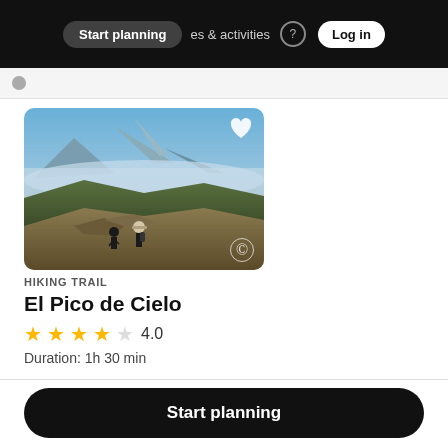Start planning  experiences & activities  Log in
[Figure (photo): Aerial view of a volcanic mountain landscape above clouds, with hikers on rocky ridge in foreground. El Pico de Cielo hiking trail photo.]
HIKING TRAIL
El Pico de Cielo
4.0
Duration: 1h 30 min
Start planning